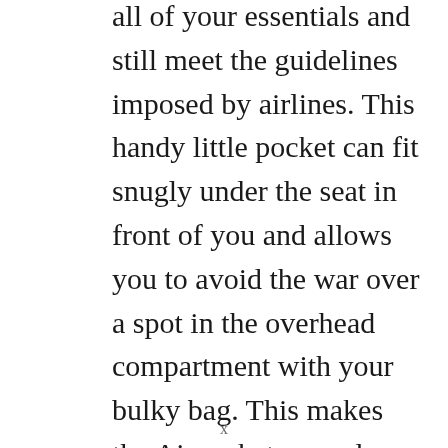This simple carry-on is designed to hold all of your essentials and still meet the guidelines imposed by airlines. This handy little pocket can fit snugly under the seat in front of you and allows you to avoid the war over a spot in the overhead compartment with your bulky bag. This makes the Airpocket a good option for safely storing your electronic devices as well as travel documents or even a book – whatever you need for your comfort and journey.